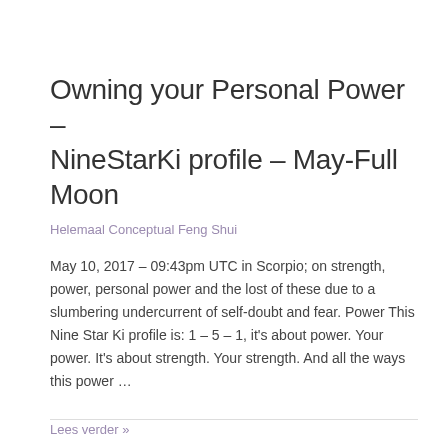Owning your Personal Power – NineStarKi profile – May-Full Moon
Helemaal Conceptual Feng Shui
May 10, 2017 – 09:43pm UTC in Scorpio; on strength, power, personal power and the lost of these due to a slumbering undercurrent of self-doubt and fear. Power This Nine Star Ki profile is: 1 – 5 – 1, it's about power. Your power. It's about strength. Your strength. And all the ways this power …
Lees verder »